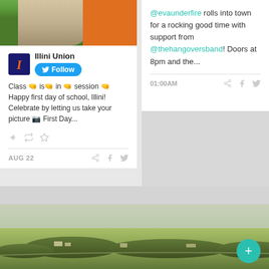[Figure (photo): Photo of two people standing in front of an orange door with greenery, associated with Illini Union tweet]
Illini Union
Follow
Class 👊 is 👊 in 👊 session 👊 Happy first day of school, Illini! Celebrate by letting us take your picture 📷 First Day...
AUG 22
@evaunderfire rolls into town for a rocking good time with support from @thehangoversband! Doors at 8pm and the...
01:00AM
[Figure (photo): Aerial landscape photo showing fields, treeline, and small buildings/town in the distance]